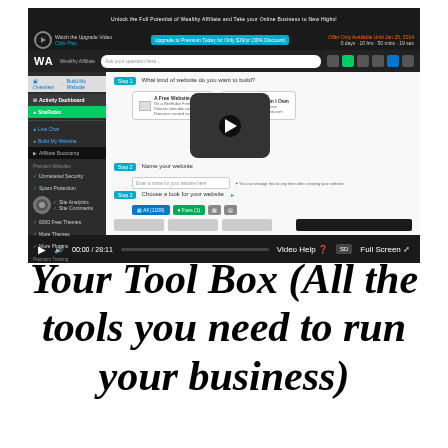[Figure (screenshot): Screenshot of a Wealthy Affiliate website builder interface showing a video player paused over a step-by-step website creation wizard. The interface includes a navigation bar with the WA logo, a sidebar with menu items (Activity Dashboard, Live Chat, Build My Website, Affiliate Bootcamp, Premium Websites, Premium Training), and content steps: Step 1 - What kind of website, Step 2 - Name your website, Step 3 - Choose a look for your website. A video overlay with play button is visible over the step 1 options. Below the screenshot is a video control bar showing 00:00 / 28:11 timestamp, Video Help, SD quality, and Full Screen controls.]
Your Tool Box (All the tools you need to run your business)